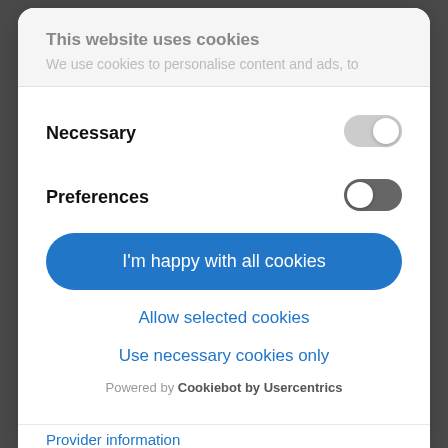This website uses cookies
We use cookies to personalise content and ads, to
Necessary
[Figure (other): Toggle switch in ON state (grey background, knob on right) for Necessary cookies]
Preferences
[Figure (other): Toggle switch in OFF state (dark grey background, knob on left) for Preferences cookies]
I'm happy with all cookies
Allow selected cookies
Use necessary cookies only
Powered by Cookiebot by Usercentrics
Provider information